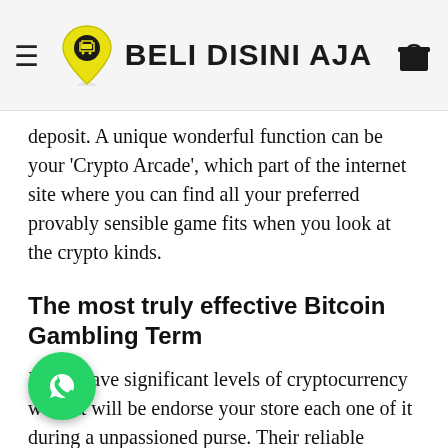BELI DISINI AJA
deposit. A unique wonderful function can be your 'Crypto Arcade', which part of the internet site where you can find all your preferred provably sensible game fits when you look at the crypto kinds.
The most truly effective Bitcoin Gambling Term
If you have significant levels of cryptocurrency we that will be endorse your store each one of it during a unpassioned purse. Their reliable unpassioned pu currently available is your Journal Nano S. I coded USB wand that you can pass around all crypto gold and silver coins. The great thing about this package, equipment finance is it't
[Figure (logo): WhatsApp floating action button (green circle with phone icon)]